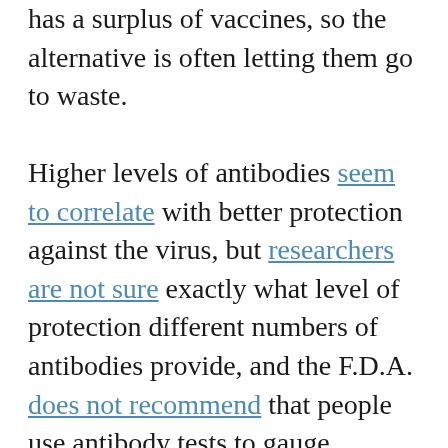has a surplus of vaccines, so the alternative is often letting them go to waste.
Higher levels of antibodies seem to correlate with better protection against the virus, but researchers are not sure exactly what level of protection different numbers of antibodies provide, and the F.D.A. does not recommend that people use antibody tests to gauge immunity.
The C.D.C. estimates there are about seven million immunocompromised individuals in the country, but it is difficult to know who will benefit from additional